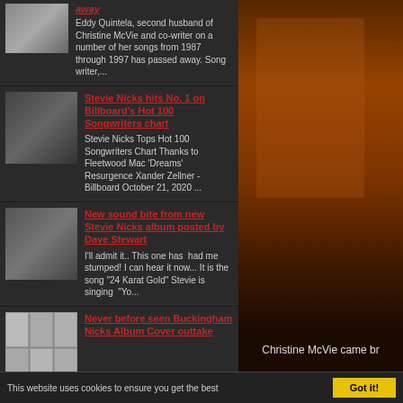[Figure (photo): Partial top news item showing thumbnail of two people and red linked title text partially cut off with 'away']
Eddy Quintela, second husband of Christine McVie and co-writer on a number of her songs from 1987 through 1997 has passed away. Song writer,...
[Figure (photo): Thumbnail of Stevie Nicks performing on stage, dark background]
Stevie Nicks hits No. 1 on Billboard's Hot 100 Songwriters chart
Stevie Nicks Tops Hot 100 Songwriters Chart Thanks to Fleetwood Mac 'Dreams' Resurgence Xander Zellner - Billboard October 21, 2020 ...
[Figure (photo): Thumbnail of two musicians with guitars]
New sound bite from new Stevie Nicks album posted by Dave Stewart
I'll admit it.. This one has  had me stumped! I can hear it now... It is the song "24 Karat Gold" Stevie is singing  "Yo...
[Figure (photo): Grid of 6 small album cover thumbnails showing black and white photos]
Never before seen Buckingham Nicks Album Cover outtake
[Figure (photo): Right side large photo - warm toned photo with reddish brown tones, partially cropped]
Christine McVie came br
This website uses cookies to ensure you get the best
Got it!